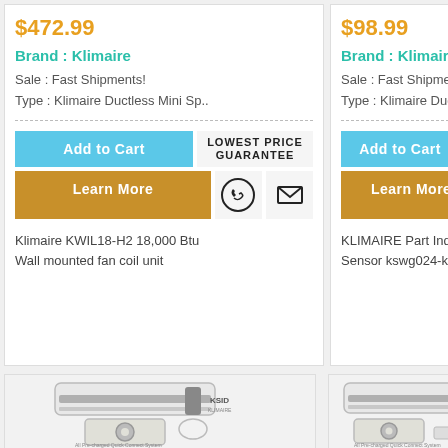$472.99
Brand : Klimaire
Sale : Fast Shipments!
Type : Klimaire Ductless Mini Sp..
Add to Cart
LOWEST PRICE GUARANTEE
Learn More
Klimaire KWIL18-H2 18,000 Btu Wall mounted fan coil unit
$98.99
Brand : Klimaire
Sale : Fast Shipments!
Type : Klimaire Ductless Mi
Add to Cart
LOWES GUAR
Learn More
KLIMAIRE Part Indoor Uni Sensor kswg024-k213
[Figure (photo): Klimaire mini split AC unit product photo, showing indoor wall unit and outdoor compressor]
[Figure (photo): Klimaire mini split AC unit product photo, showing indoor wall unit and outdoor compressor (second product)]